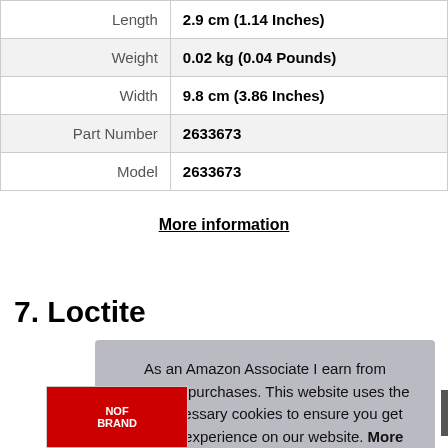| Attribute | Value |
| --- | --- |
| Length | 2.9 cm (1.14 Inches) |
| Weight | 0.02 kg (0.04 Pounds) |
| Width | 9.8 cm (3.86 Inches) |
| Part Number | 2633673 |
| Model | 2633673 |
More information
7. Loctite
As an Amazon Associate I earn from qualifying purchases. This website uses the only necessary cookies to ensure you get the best experience on our website. More information